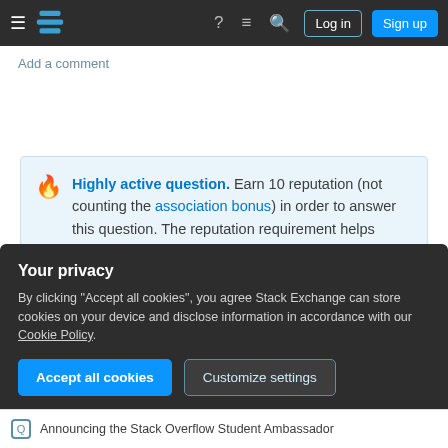Stack Exchange navigation bar with Log in and Sign up buttons
Add a comment
Highly active question. Earn 10 reputation (not counting the association bonus) in order to answer this question. The reputation requirement helps protect this question from spam and non-answer activity.
Not the answer you're looking for? Browse other questions tagged windows-7 internet-explorer-10 or ask your own question.
Your privacy
By clicking "Accept all cookies", you agree Stack Exchange can store cookies on your device and disclose information in accordance with our Cookie Policy.
Accept all cookies   Customize settings
Announcing the Stack Overflow Student Ambassador